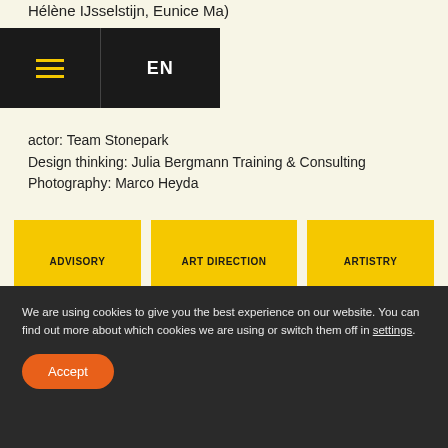Hélène IJsselstijn, Eunice Ma)
EN  (nav bar with hamburger menu)
actor: Team Stonepark
Design thinking: Julia Bergmann Training & Consulting
Photography: Marco Heyda
ADVISORY
ART DIRECTION
ARTISTRY
DESIGN WORKSHOP
LOOKBOOK
TENDERING SUPPORT
We are using cookies to give you the best experience on our website. You can find out more about which cookies we are using or switch them off in settings.